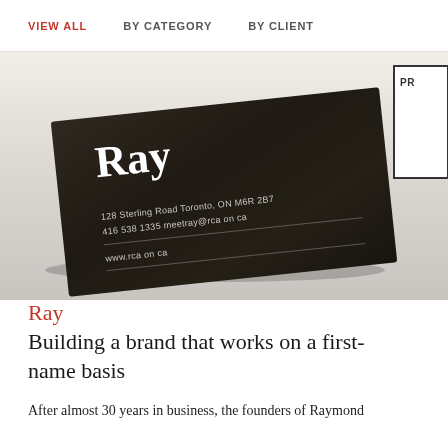VIEW ALL   BY CATEGORY   BY CLIENT
[Figure (photo): Close-up photograph of a dark/black textured business card for 'Ray' showing the Ray logo in bold white serif font, address at 128 Sterling Road Toronto, ON M6R 2B7, phone 416 538 1335, email meetray@rca.on.ca, website www.rca.on.ca, with horizontal dividing lines, placed on a white surface with a partial white card visible in the top right corner showing 'PR']
Ray
Building a brand that works on a first-name basis
After almost 30 years in business, the founders of Raymond